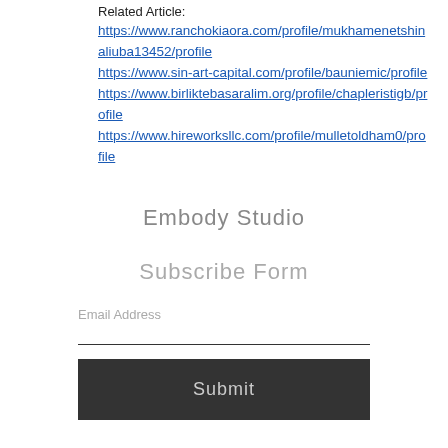Related Article:
https://www.ranchokiaora.com/profile/mukhamenetshinaliuba13452/profile
https://www.sin-art-capital.com/profile/bauniemic/profile
https://www.birliktebasaralim.org/profile/chapleristigb/profile
https://www.hireworksllc.com/profile/mulletoldham0/profile
Embody Studio
Subscribe Form
Email Address
Submit